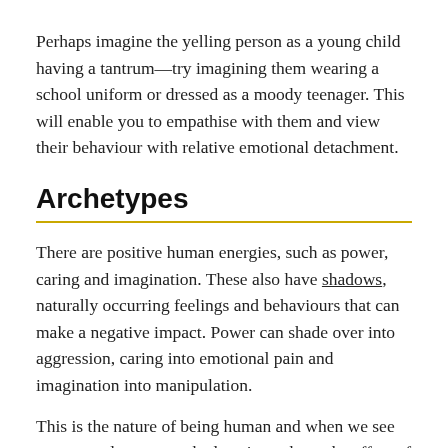Perhaps imagine the yelling person as a young child having a tantrum—try imagining them wearing a school uniform or dressed as a moody teenager. This will enable you to empathise with them and view their behaviour with relative emotional detachment.
Archetypes
There are positive human energies, such as power, caring and imagination. These also have shadows, naturally occurring feelings and behaviours that can make a negative impact. Power can shade over into aggression, caring into emotional pain and imagination into manipulation.
This is the nature of being human and when we see someone else enter a shadow, it can have the effect of unleashing one of our own shadows too. Noticing this